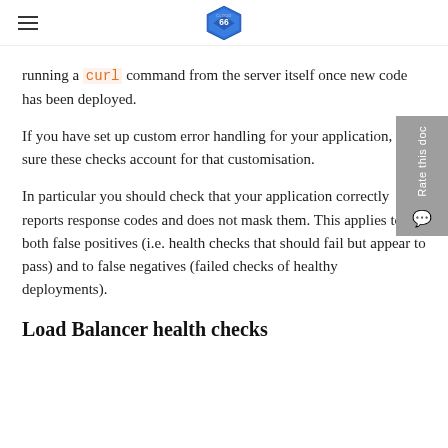Cloud 66
running a curl command from the server itself once new code has been deployed.
If you have set up custom error handling for your application, be sure these checks account for that customisation.
In particular you should check that your application correctly reports response codes and does not mask them. This applies to both false positives (i.e. health checks that should fail but appear to pass) and to false negatives (failed checks of healthy deployments).
Load Balancer health checks